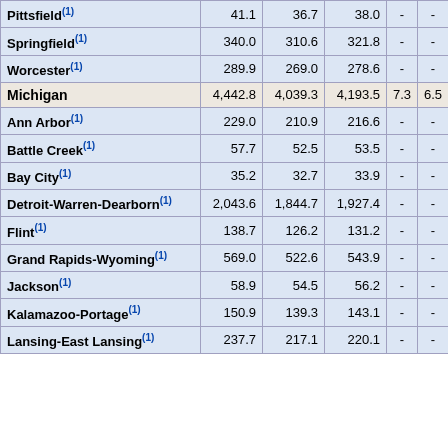| Area | Col1 | Col2 | Col3 | Col4 | Col5 |
| --- | --- | --- | --- | --- | --- |
| Pittsfield(1) | 41.1 | 36.7 | 38.0 | - | - |
| Springfield(1) | 340.0 | 310.6 | 321.8 | - | - |
| Worcester(1) | 289.9 | 269.0 | 278.6 | - | - |
| Michigan | 4,442.8 | 4,039.3 | 4,193.5 | 7.3 | 6.5 | 6 |
| Ann Arbor(1) | 229.0 | 210.9 | 216.6 | - | - |
| Battle Creek(1) | 57.7 | 52.5 | 53.5 | - | - |
| Bay City(1) | 35.2 | 32.7 | 33.9 | - | - |
| Detroit-Warren-Dearborn(1) | 2,043.6 | 1,844.7 | 1,927.4 | - | - |
| Flint(1) | 138.7 | 126.2 | 131.2 | - | - |
| Grand Rapids-Wyoming(1) | 569.0 | 522.6 | 543.9 | - | - |
| Jackson(1) | 58.9 | 54.5 | 56.2 | - | - |
| Kalamazoo-Portage(1) | 150.9 | 139.3 | 143.1 | - | - |
| Lansing-East Lansing(1) | 237.7 | 217.1 | 220.1 | - | - |